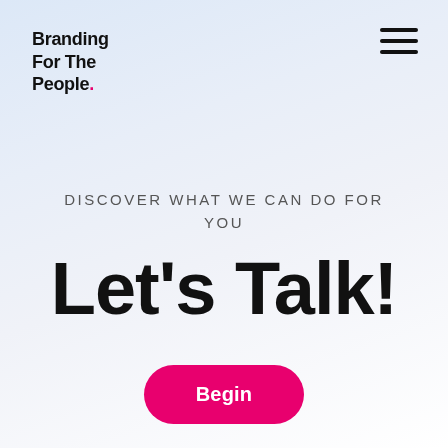Branding For The People.
DISCOVER WHAT WE CAN DO FOR YOU
Let's Talk!
Begin